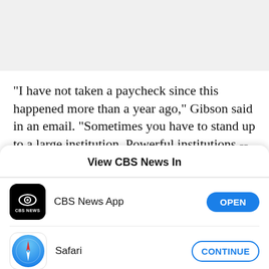"I have not taken a paycheck since this happened more than a year ago," Gibson said in an email. "Sometimes you have to stand up to a large institution. Powerful institutions -- including Oberlin
[Figure (screenshot): iOS app chooser modal: 'View CBS News In' with options for CBS News App (OPEN button) and Safari (CONTINUE button)]